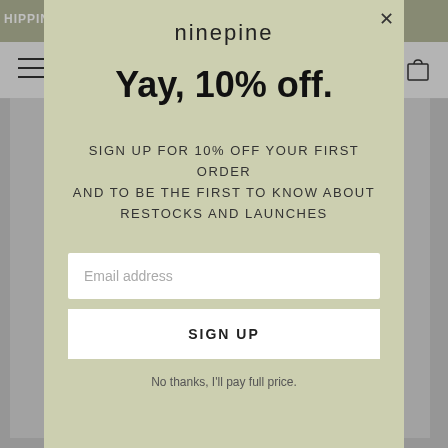HIPPIN
[Figure (screenshot): Website product page background visible behind modal overlay]
ninepine
Yay, 10% off.
SIGN UP FOR 10% OFF YOUR FIRST ORDER AND TO BE THE FIRST TO KNOW ABOUT RESTOCKS AND LAUNCHES
Email address
SIGN UP
No thanks, I'll pay full price.